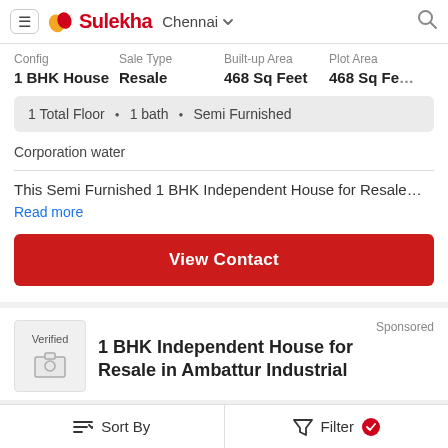Sulekha Chennai
| Config | Sale Type | Built-up Area | Plot Area |
| --- | --- | --- | --- |
| 1 BHK House | Resale | 468 Sq Feet | 468 Sq Feet |
1 Total Floor • 1 bath • Semi Furnished
Corporation water
This Semi Furnished 1 BHK Independent House for Resale...
Read more
View Contact
Sponsored
Verified
1 BHK Independent House for Resale in Ambattur Industrial
Sort By   Filter